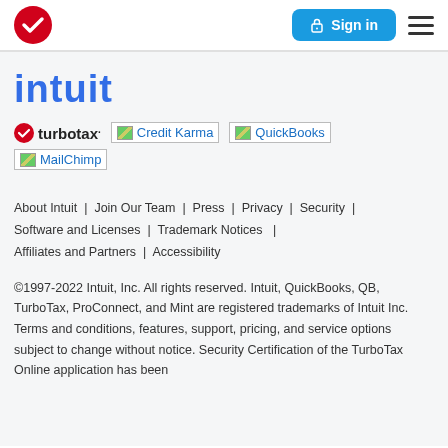Sign in | (hamburger menu)
[Figure (logo): Intuit logo text in blue bold lowercase]
[Figure (logo): TurboTax logo with red checkmark circle]
[Figure (logo): Credit Karma logo (broken image)]
[Figure (logo): QuickBooks logo (broken image)]
[Figure (logo): MailChimp logo (broken image)]
About Intuit | Join Our Team | Press | Privacy | Security | Software and Licenses | Trademark Notices | Affiliates and Partners | Accessibility
©1997-2022 Intuit, Inc. All rights reserved. Intuit, QuickBooks, QB, TurboTax, ProConnect, and Mint are registered trademarks of Intuit Inc. Terms and conditions, features, support, pricing, and service options subject to change without notice. Security Certification of the TurboTax Online application has been